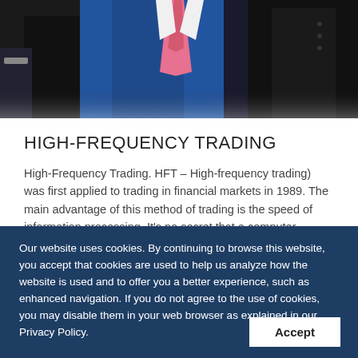[Figure (photo): Cropped photo of two men in suits - one in a blue suit with a pink tie, another in a black suit, showing torsos/chests only.]
HIGH-FREQUENCY TRADING
High-Frequency Trading. HFT – High-frequency trading) was first applied to trading in financial markets in 1989. The main advantage of this method of trading is the speed of information processing. It's no secret that a computer processor can do this in some applications much faster than a human. Not all areas of the processor surpass the human
Our website uses cookies. By continuing to browse this website, you accept that cookies are used to help us analyze how the website is used and to offer you a better experience, such as enhanced navigation. If you do not agree to the use of cookies, you may disable them in your web browser as explained in our Privacy Policy.